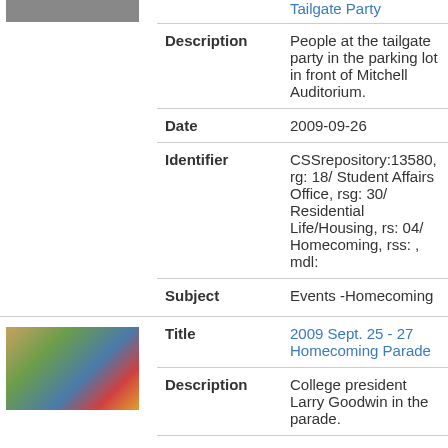| Title | Tailgate Party |
| Description | People at the tailgate party in the parking lot in front of Mitchell Auditorium. |
| Date | 2009-09-26 |
| Identifier | CSSrepository:13580, rg: 18/ Student Affairs Office, rsg: 30/ Residential Life/Housing, rs: 04/ Homecoming, rss: , mdl: |
| Subject | Events -Homecoming |
| Title | 2009 Sept. 25 - 27 Homecoming Parade |
| Description | College president Larry Goodwin in the parade. |
| Date | 2009-09-26 |